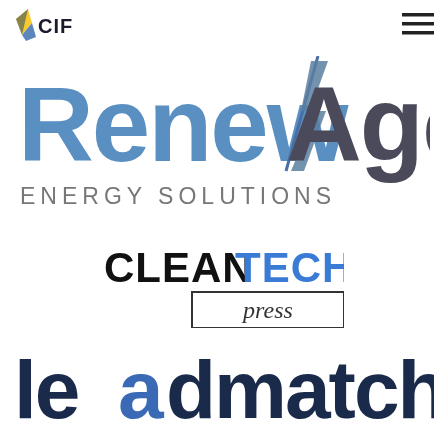[Figure (logo): CIF logo - small text logo with stylized 'CIF' initials and leaf/sun icon, top left]
[Figure (logo): Hamburger menu icon (three horizontal lines), top right]
[Figure (logo): RenewAge Energy Solutions logo - large blue and dark grey stylized text with lightning bolt]
[Figure (logo): CleanTech press logo - CLEAN in black bold, TECH in blue bold, press in a rectangular box below]
[Figure (logo): leadmatching logo - large dark navy bold lowercase text, 'a' in blue]